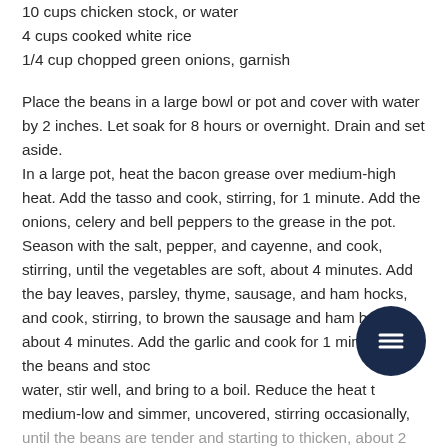10 cups chicken stock, or water
4 cups cooked white rice
1/4 cup chopped green onions, garnish
Place the beans in a large bowl or pot and cover with water by 2 inches. Let soak for 8 hours or overnight. Drain and set aside.
In a large pot, heat the bacon grease over medium-high heat. Add the tasso and cook, stirring, for 1 minute. Add the onions, celery and bell peppers to the grease in the pot. Season with the salt, pepper, and cayenne, and cook, stirring, until the vegetables are soft, about 4 minutes. Add the bay leaves, parsley, thyme, sausage, and ham hocks, and cook, stirring, to brown the sausage and ham hocks, about 4 minutes. Add the garlic and cook for 1 minute. Add the beans and stock or water, stir well, and bring to a boil. Reduce the heat to medium-low and simmer, uncovered, stirring occasionally,
until the beans are tender and starting to thicken, about 2 hours. (Should the beans become too thick and dry, add more